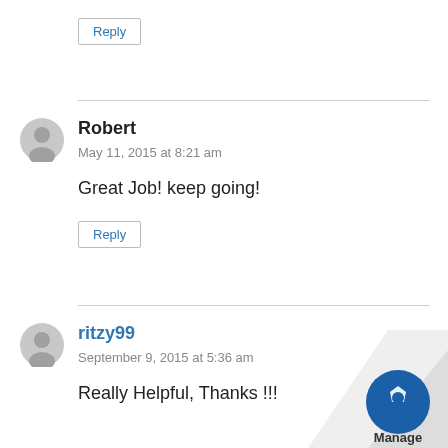Reply
Robert
May 11, 2015 at 8:21 am
Great Job! keep going!
Reply
ritzy99
September 9, 2015 at 5:36 am
Really Helpful, Thanks !!!